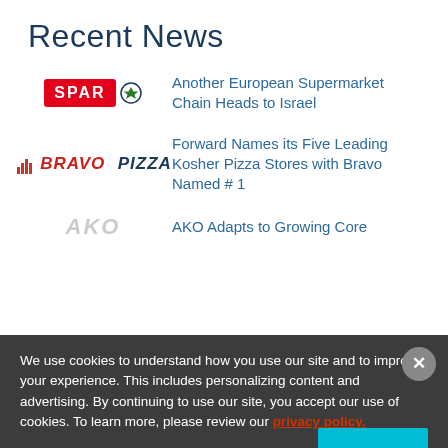Recent News
Another European Supermarket Chain Heads to Israel
Forward Names its Five Leading Kosher Pizza Stores with Bravo Named # 1
AKO Adapts to Growing Core
We use cookies to understand how you use our site and to improve your experience. This includes personalizing content and advertising. By continuing to use our site, you accept our use of cookies. To learn more, please review our privacy policy.